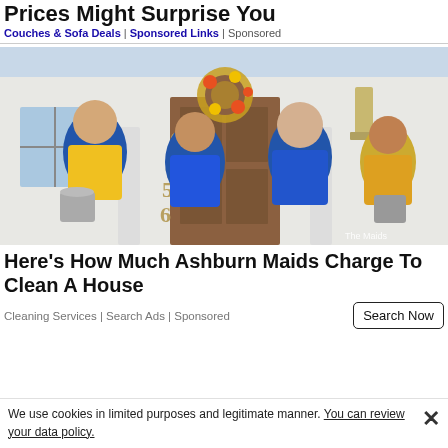Prices Might Surprise You
Couches & Sofa Deals | Sponsored Links | Sponsored
[Figure (photo): Four women in blue and yellow cleaning service uniforms standing in front of a house entrance with a floral wreath. They are holding cleaning supplies and buckets labeled 'The Maids'. A watermark reads 'The Maids'.]
Here's How Much Ashburn Maids Charge To Clean A House
Cleaning Services | Search Ads | Sponsored
We use cookies in limited purposes and legitimate manner. You can review your data policy.